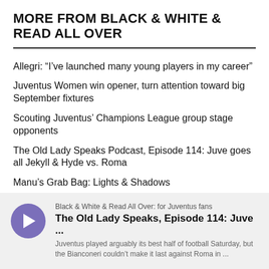MORE FROM BLACK & WHITE & READ ALL OVER
Allegri: “I’ve launched many young players in my career”
Juventus Women win opener, turn attention toward big September fixtures
Scouting Juventus’ Champions League group stage opponents
The Old Lady Speaks Podcast, Episode 114: Juve goes all Jekyll & Hyde vs. Roma
Manu’s Grab Bag: Lights & Shadows
Juventus fade after a bright start in draw vs. Roma
[Figure (other): Podcast player card with play button. Source: Black & White & Read All Over: for Juventus fans. Title: The Old Lady Speaks, Episode 114: Juve ... Description: Juventus played arguably its best half of football Saturday, but the Bianconeri couldn’t make it last against Roma in ...]